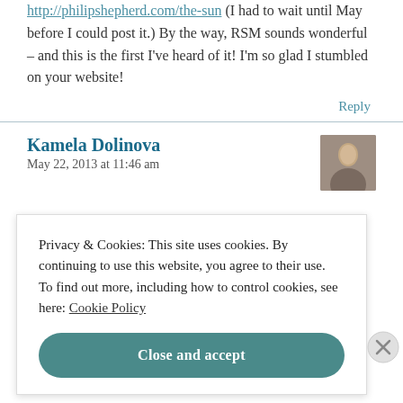http://philipshepherd.com/the-sun (I had to wait until May before I could post it.) By the way, RSM sounds wonderful – and this is the first I've heard of it! I'm so glad I stumbled on your website!
Reply
Kamela Dolinova
May 22, 2013 at 11:46 am
[Figure (photo): Avatar photo of Kamela Dolinova]
Privacy & Cookies: This site uses cookies. By continuing to use this website, you agree to their use. To find out more, including how to control cookies, see here: Cookie Policy
Close and accept